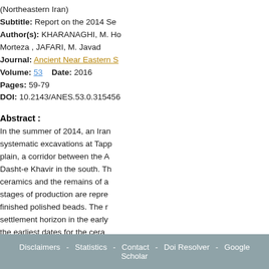(Northeastern Iran)
Subtitle: Report on the 2014 Se
Author(s): KHARANAGHI, M. Ho
Morteza , JAFARI, M. Javad
Journal: Ancient Near Eastern S
Volume: 53   Date: 2016
Pages: 59-79
DOI: 10.2143/ANES.53.0.315456
Abstract :
In the summer of 2014, an Iran systematic excavations at Tapp plain, a corridor between the A Dasht-e Khavir in the south. Th ceramics and the remains of a stages of production are repre finished polished beads. The r settlement horizon in the early the earliest dates for the cera display clear ties with the Late Iran, and can be correlated wit 200 km to the east. A large par
Disclaimers - Statistics - Contact - Doi Resolver - Google Scholar